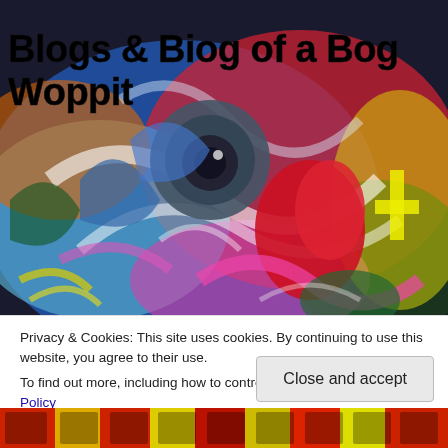[Figure (illustration): Colorful abstract expressionist painting serving as blog header banner. Features vibrant swirling brushstrokes in red, blue, yellow, green, pink, and white. Central figure appears to be an abstract bird or creature with a circular eye motif. Yellow cross/crucifix shape visible on right side.]
Blogs & Biog of a Bog Woppit
Privacy & Cookies: This site uses cookies. By continuing to use this website, you agree to their use.
To find out more, including how to control cookies, see here: Cookie Policy
Close and accept
[Figure (illustration): Bottom strip of another colorful abstract painting, partially visible, showing text or artistic lettering in bright colors.]